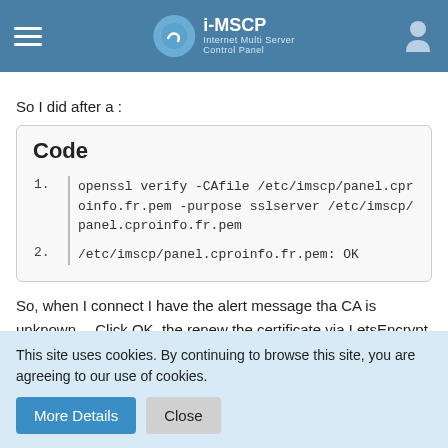i-MSCP Internet Multi Server Control Panel
So I did after a :
Code
1. openssl verify -CAfile /etc/imscp/panel.cproinfo.fr.pem -purpose sslserver /etc/imscp/panel.cproinfo.fr.pem
2. /etc/imscp/panel.cproinfo.fr.pem: OK
So, when I connect I have the alert message tha CA is unknown... Click OK, the renew the certificate via LetsEncrypt option. When I connect, all is fine, but when i ran :
This site uses cookies. By continuing to browse this site, you are agreeing to our use of cookies.